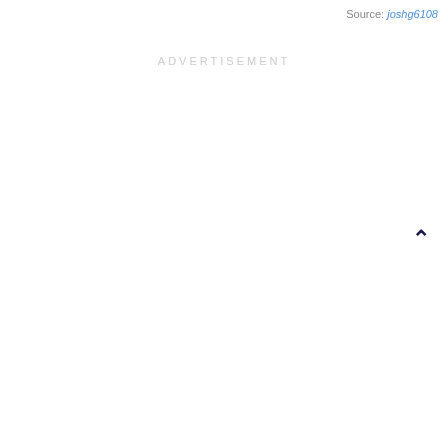Source: joshg6108
ADVERTISEMENT
[Figure (other): Up chevron arrow icon in dark navy color]